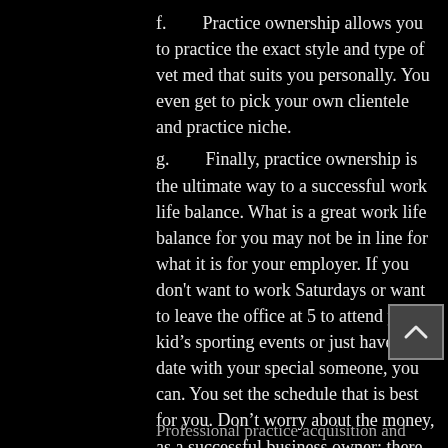f.      Practice ownership allows you to practice the exact style and type of vet med that suits you personally. You even get to pick your own clientele and practice niche.
g.      Finally, practice ownership is the ultimate way to a successful work life balance. What is a great work life balance for you may not be in line for what it is for your employer. If you don't want to work Saturdays or want to leave the office at 5 to attend your kid's sporting events or just have a date with your special someone, you can. You set the schedule that is best for you. Don't worry about the money, as a successful business owner; there will be plenty of money - even with your ideal schedule.